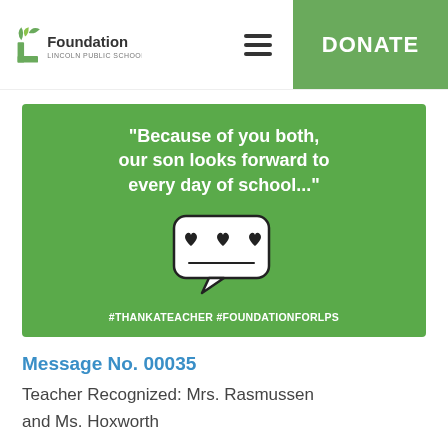Foundation Lincoln Public Schools | DONATE
[Figure (illustration): Green promotional card with white bold quote text: '"Because of you both, our son looks forward to every day of school..."', a speech bubble emoji with heart eyes, and hashtags #THANKATEACHER #FOUNDATIONFORLPS]
Message No. 00035
Teacher Recognized: Mrs. Rasmussen and Ms. Hoxworth